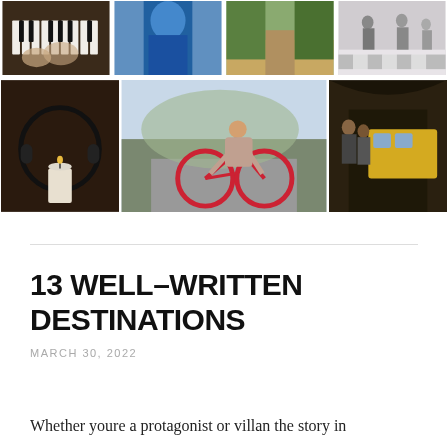[Figure (photo): Photo collage grid with two rows: top row has four photos (piano hands, blue outfit person, forest path, people walking on checkered floor); bottom row has three photos (headphones with candle, cyclist on red bike on road, musicians in subway/tunnel)]
13 WELL-WRITTEN DESTINATIONS
MARCH 30, 2022
Whether youre a protagonist or villan the story in